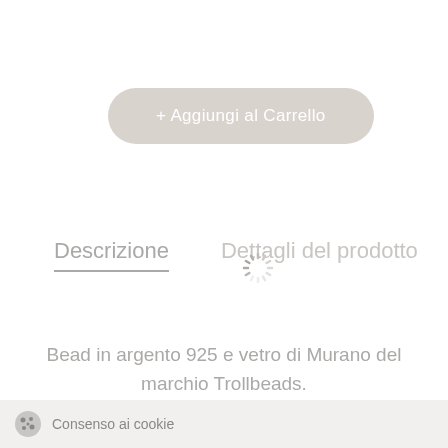+ Aggiungi al Carrello
Descrizione
Dettagli del prodotto
[Figure (other): Loading spinner animation indicator]
Bead in argento 925 e vetro di Murano del marchio Trollbeads.
Significato: Coraggioso, audace, ardito… come chi lo indossa.
Consenso ai cookie